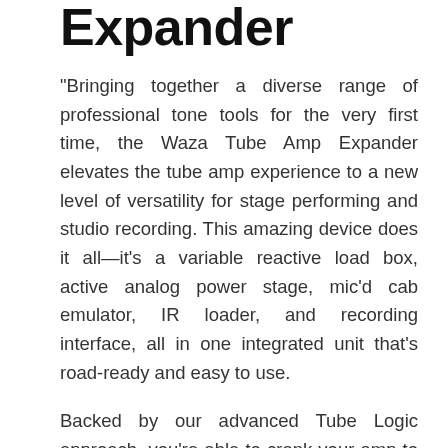Expander
"Bringing together a diverse range of professional tone tools for the very first time, the Waza Tube Amp Expander elevates the tube amp experience to a new level of versatility for stage performing and studio recording. This amazing device does it all—it's a variable reactive load box, active analog power stage, mic'd cab emulator, IR loader, and recording interface, all in one integrated unit that's road-ready and easy to use.
Backed by our advanced Tube Logic approach, you're able to crank your amp to its sweet spot and play at any volume while faithfully retaining the core tone and feel you love. And with extensive connectivity, built-in BOSS effects, 10 fully customizable rig setups, and deep real-time control, you have unparalleled